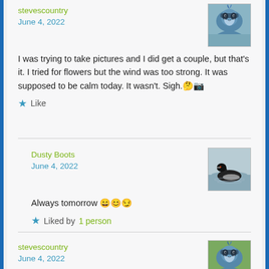stevescountry
June 4, 2022
[Figure (photo): Blue jay bird avatar thumbnail]
I was trying to take pictures and I did get a couple, but that's it. I tried for flowers but the wind was too strong. It was supposed to be calm today. It wasn't. Sigh. 🤔📷
★ Like
Dusty Boots
June 4, 2022
[Figure (photo): Loon bird on water avatar thumbnail]
Always tomorrow 😄😊😏
★ Liked by 1 person
stevescountry
June 4, 2022
[Figure (photo): Blue jay bird avatar thumbnail]